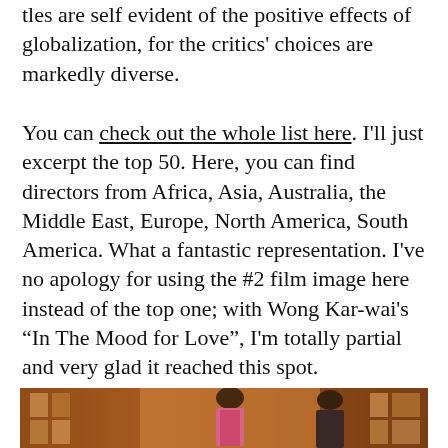tles are self evident of the positive effects of globalization, for the critics' choices are markedly diverse.
You can check out the whole list here. I'll just excerpt the top 50. Here, you can find directors from Africa, Asia, Australia, the Middle East, Europe, North America, South America. What a fantastic representation. I've no apology for using the #2 film image here instead of the top one; with Wong Kar-wai's “In The Mood for Love”, I'm totally partial and very glad it reached this spot.
[Figure (photo): A cinematic still from Wong Kar-wai's 'In The Mood for Love' showing a woman in a colorful floral cheongsam/qipao and a man in a dark suit standing in a narrow corridor with warm golden-orange toned walls covered in posters and text.]